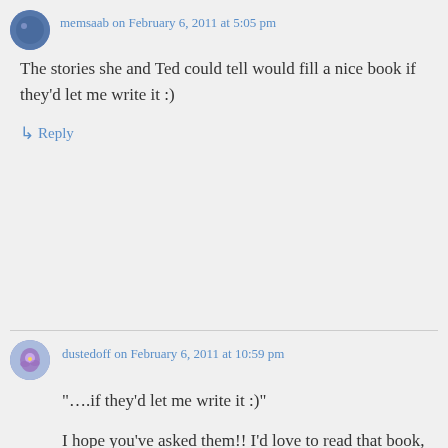memsaab on February 6, 2011 at 5:05 pm
The stories she and Ted could tell would fill a nice book if they'd let me write it :)
↳ Reply
dustedoff on February 6, 2011 at 10:59 pm
"….if they'd let me write it :)"
I hope you've asked them!! I'd love to read that book, especially if it's been written by you. Thank you for this post – loved every bit of it, and realised how many places I've seen Edwina. In some of my favourite